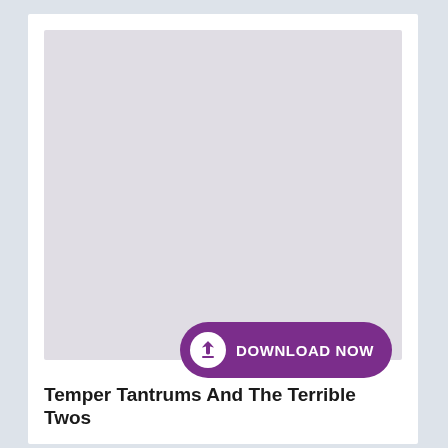[Figure (other): Large light grey placeholder image area representing a book or article cover image]
Temper Tantrums And The Terrible Twos